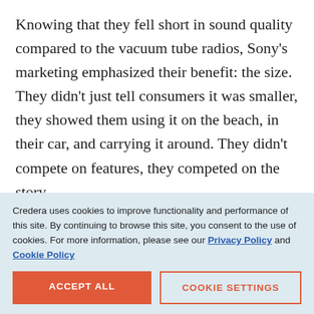Knowing that they fell short in sound quality compared to the vacuum tube radios, Sony's marketing emphasized their benefit: the size. They didn't just tell consumers it was smaller, they showed them using it on the beach, in their car, and carrying it around. They didn't compete on features, they competed on the story.
Credera uses cookies to improve functionality and performance of this site. By continuing to browse this site, you consent to the use of cookies. For more information, please see our Privacy Policy and Cookie Policy